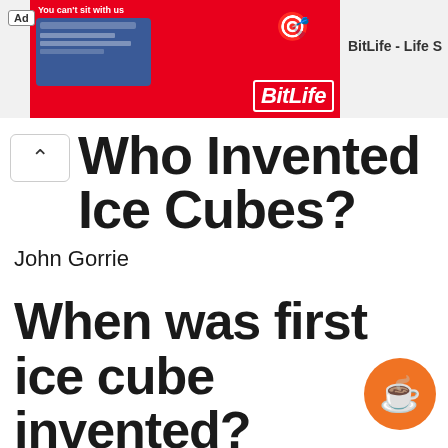[Figure (screenshot): Advertisement banner for BitLife - Life S app. Shows 'You can't sit with us' text with game screenshot on red background with BitLife logo.]
Who Invented Ice Cubes?
John Gorrie
When was first ice cube invented?
Although nobody knows who invented the modern ice cube tray the physician John Gorrie created a refrigerator that produced